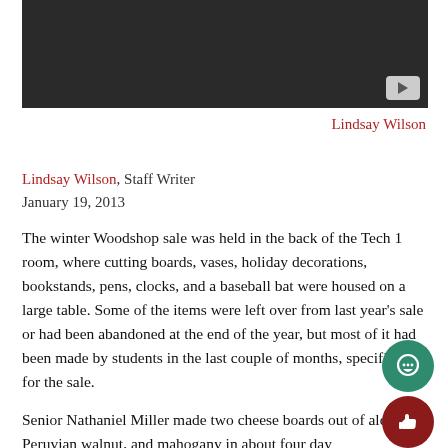[Figure (screenshot): Dark video thumbnail with YouTube play button in bottom-right corner]
Lindsay Wilson
Lindsay Wilson, Staff Writer
January 19, 2013
The winter Woodshop sale was held in the back of the Tech 1 room, where cutting boards, vases, holiday decorations, bookstands, pens, clocks, and a baseball bat were housed on a large table. Some of the items were left over from last year’s sale or had been abandoned at the end of the year, but most of it had been made by students in the last couple of months, specifically for the sale.
Senior Nathaniel Miller made two cheese boards out of alder, Peruvian walnut, and mahogany in about four days, and on the senior Peruvian Peruvian and a getting the colors